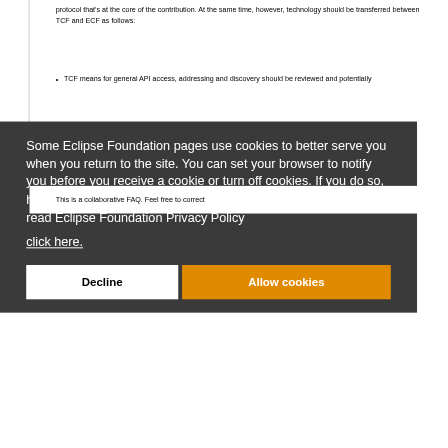protocol that's at the core of the contribution. At the same time, however, technology should be transferred between TCF and ECF as follows:
TCF means for general API access, addressing and discovery should be reviewed and potentially
Some Eclipse Foundation pages use cookies to better serve you when you return to the site. You can set your browser to notify you before you receive a cookie or turn off cookies. If you do so, however, some areas of some sites may not function properly. To read Eclipse Foundation Privacy Policy click here.
This is a collaborative FAQ. Feel free to correct